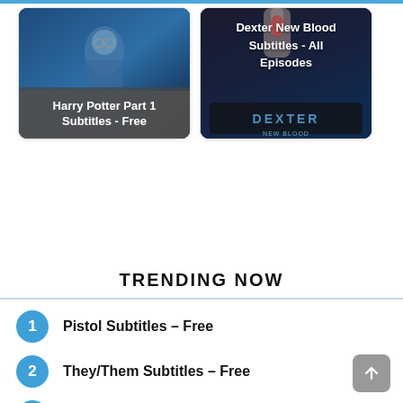[Figure (photo): Harry Potter Part 1 movie poster thumbnail with dark blue tones, character visible]
Harry Potter Part 1 Subtitles - Free
[Figure (photo): Dexter New Blood show poster thumbnail with dark tones, hand visible]
Dexter New Blood Subtitles - All Episodes
TRENDING NOW
1 Pistol Subtitles – Free
2 They/Them Subtitles – Free
3 Luck Subtitles – Free